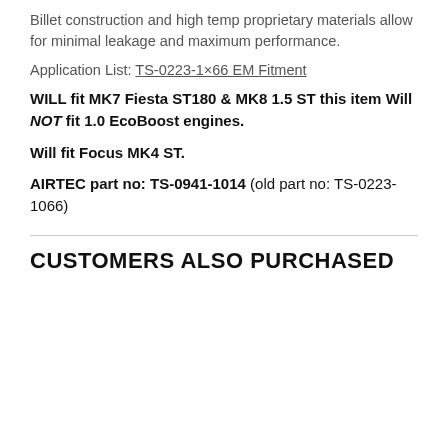Billet construction and high temp proprietary materials allow for minimal leakage and maximum performance.
Application List: TS-0223-1×66 EM Fitment
WILL fit MK7 Fiesta ST180 & MK8 1.5 ST this item Will NOT fit 1.0 EcoBoost engines.
Will fit Focus MK4 ST.
AIRTEC part no: TS-0941-1014 (old part no: TS-0223-1066)
CUSTOMERS ALSO PURCHASED